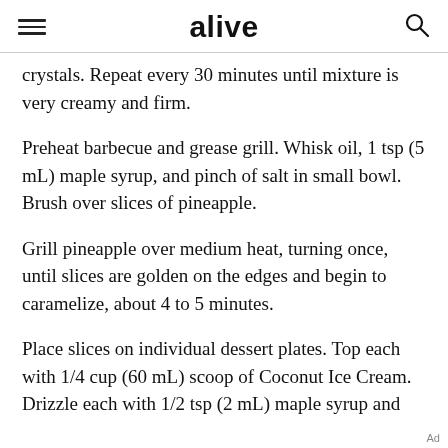alive
crystals. Repeat every 30 minutes until mixture is very creamy and firm.
Preheat barbecue and grease grill. Whisk oil, 1 tsp (5 mL) maple syrup, and pinch of salt in small bowl. Brush over slices of pineapple.
Grill pineapple over medium heat, turning once, until slices are golden on the edges and begin to caramelize, about 4 to 5 minutes.
Place slices on individual dessert plates. Top each with 1/4 cup (60 mL) scoop of Coconut Ice Cream. Drizzle each with 1/2 tsp (2 mL) maple syrup and
Ad